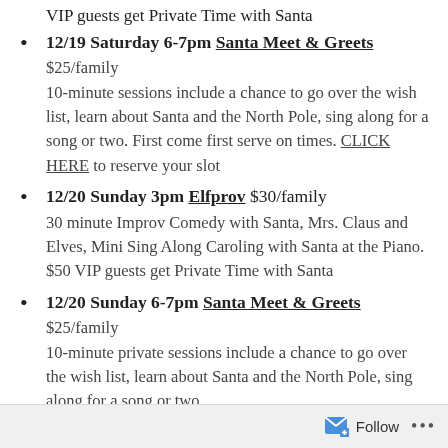VIP guests get Private Time with Santa
12/19 Saturday 6-7pm Santa Meet & Greets $25/family 10-minute sessions include a chance to go over the wish list, learn about Santa and the North Pole, sing along for a song or two. First come first serve on times. CLICK HERE to reserve your slot
12/20 Sunday 3pm Elfprov $30/family 30 minute Improv Comedy with Santa, Mrs. Claus and Elves, Mini Sing Along Caroling with Santa at the Piano. $50 VIP guests get Private Time with Santa
12/20 Sunday 6-7pm Santa Meet & Greets $25/family 10-minute private sessions include a chance to go over the wish list, learn about Santa and the North Pole, sing along for a song or two.
12/21 Monday 6-7pm Santa Meet & Greets
Follow